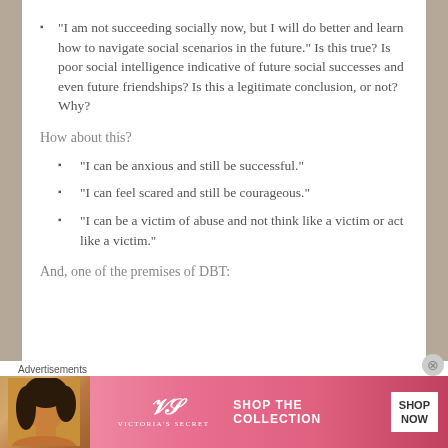“I am not succeeding socially now, but I will do better and learn how to navigate social scenarios in the future.” Is this true? Is poor social intelligence indicative of future social successes and even future friendships? Is this a legitimate conclusion, or not? Why?
How about this?
“I can be anxious and still be successful.”
“I can feel scared and still be courageous.”
“I can be a victim of abuse and not think like a victim or act like a victim.”
And, one of the premises of DBT:
[Figure (screenshot): Advertisements banner: Victoria's Secret ad with pink background, model photo, VS logo, 'SHOP THE COLLECTION' text, and 'SHOP NOW' button]